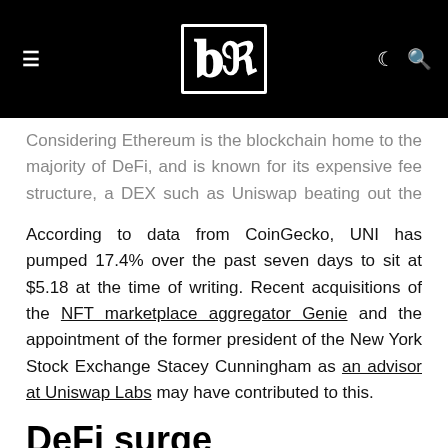≡  [BR logo]  ☾ 🔍
Considering Ethereum is the blockchain home to the majority of DeFi, and is known for its expensive fee structure, a DEX such as Uniswap beating out the blockchain in fees over a week is notable.
According to data from CoinGecko, UNI has pumped 17.4% over the past seven days to sit at $5.18 at the time of writing. Recent acquisitions of the NFT marketplace aggregator Genie and the appointment of the former president of the New York Stock Exchange Stacey Cunningham as an advisor at Uniswap Labs may have contributed to this.
DeFi surge
Uniswap is not the only platform to see a surge in its fees and to be seeing a lot of activity in the coming...